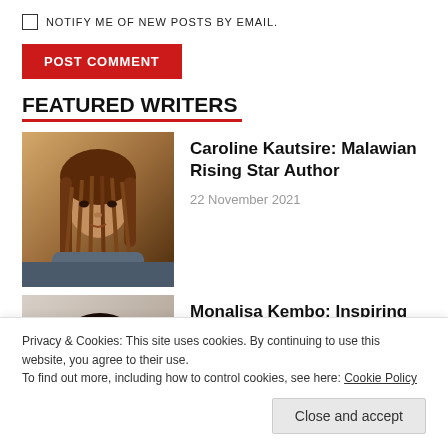NOTIFY ME OF NEW POSTS BY EMAIL.
POST COMMENT
FEATURED WRITERS
[Figure (photo): Portrait photo of Caroline Kautsire, a young Black woman with long braided hair, warm brown tones background]
Caroline Kautsire: Malawian Rising Star Author
22 November 2021
[Figure (photo): Portrait photo of Monalisa Kembo, a young Black woman smiling, light grey background]
Monalisa Kembo: Inspiring Relationship Coach
14 October 2021
Privacy & Cookies: This site uses cookies. By continuing to use this website, you agree to their use.
To find out more, including how to control cookies, see here: Cookie Policy
Close and accept